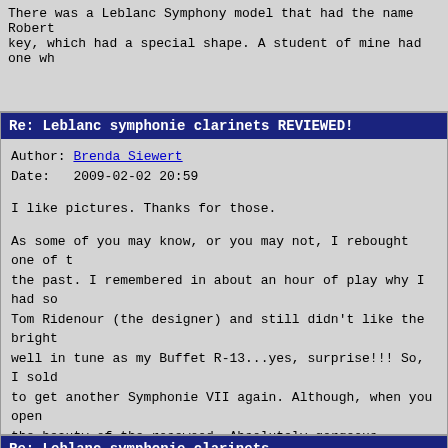There was a Leblanc Symphony model that had the name Robert key, which had a special shape. A student of mine had one wh
Re: Leblanc symphonie clarinets REVIEWED!
Author: Brenda Siewert
Date:   2009-02-02 20:59

I like pictures. Thanks for those.

As some of you may know, or you may not, I rebought one of t the past. I remembered in about an hour of play why I had so Tom Ridenour (the designer) and still didn't like the bright well in tune as my Buffet R-13...yes, surprise!!! So, sold to get another Symphonie VII again. Although, when you open the beauty of the rosewood. Absolutely gorgeous instrument. Symphonies by Leblanc and certainly different from the new v
Re: Leblanc symphonie clarinets
Author: Koo Young Chung
Date:   2009-06-19 23:31

Anyone knows when Leblanc started nickel/silver platings on